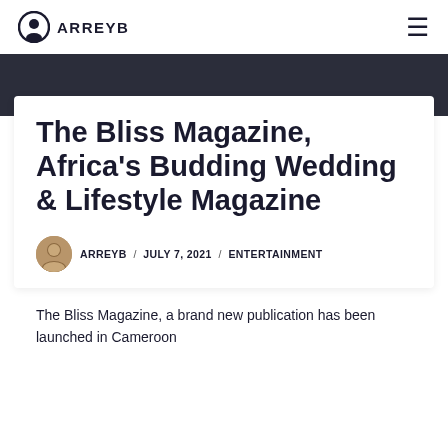ARREYB
The Bliss Magazine, Africa's Budding Wedding & Lifestyle Magazine
ARREYB / JULY 7, 2021 / ENTERTAINMENT
The Bliss Magazine, a brand new publication has been launched in Cameroon